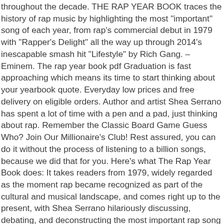throughout the decade. THE RAP YEAR BOOK traces the history of rap music by highlighting the most "important" song of each year, from rap's commercial debut in 1979 with "Rapper's Delight" all the way up through 2014's inescapable smash hit "Lifestyle" by Rich Gang. – Eminem. The rap year book pdf Graduation is fast approaching which means its time to start thinking about your yearbook quote. Everyday low prices and free delivery on eligible orders. Author and artist Shea Serrano has spent a lot of time with a pen and a pad, just thinking about rap. Remember the Classic Board Game Guess Who? Join Our Millionaire's Club! Rest assured, you can do it without the process of listening to a billion songs, because we did that for you. Here's what The Rap Year Book does: It takes readers from 1979, widely regarded as the moment rap became recognized as part of the cultural and musical landscape, and comes right up to the present, with Shea Serrano hilariously discussing, debating, and deconstructing the most important rap song year by year. - click here, Star Wars The Mandalorian - The Dark Saber, View Mobile Version of the Booksamillion.com Site. Stream songs including “Will You Ever Know?”, “Do Yo Thang” and more. Last month, we told you about The Rap Yearbook: The Most Important Rap Song From Every Year Since 1979, Discussed, Debated, and Deconstructed